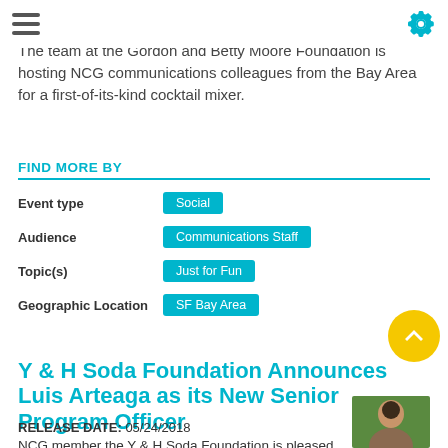4:30pm to 6:30pm
Gordon and Betty Moore Foundation
The team at the Gordon and Betty Moore Foundation is hosting NCG communications colleagues from the Bay Area for a first-of-its-kind cocktail mixer.
FIND MORE BY
Event type: Social
Audience: Communications Staff
Topic(s): Just for Fun
Geographic Location: SF Bay Area
Y & H Soda Foundation Announces Luis Arteaga as its New Senior Program Officer
RELEASE DATE: 05/24/2018
NCG member the Y & H Soda Foundation is pleased to announce that Luis Arteaga
[Figure (photo): Headshot photo of Luis Arteaga, shown from shoulders up, outdoors with green background]